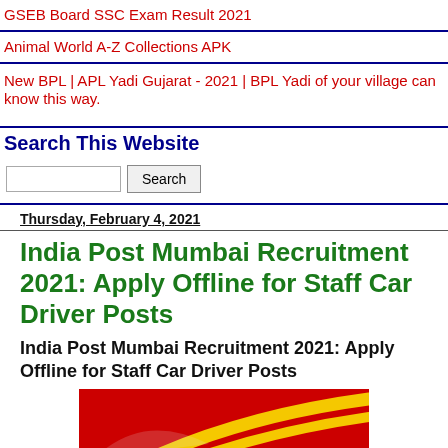GSEB Board SSC Exam Result 2021
Animal World A-Z Collections APK
New BPL | APL Yadi Gujarat - 2021 | BPL Yadi of your village can know this way.
Search This Website
[search box] [Search button]
Thursday, February 4, 2021
India Post Mumbai Recruitment 2021: Apply Offline for Staff Car Driver Posts
India Post Mumbai Recruitment 2021: Apply Offline for Staff Car Driver Posts
[Figure (photo): India Post logo on red background with yellow swoosh marks]